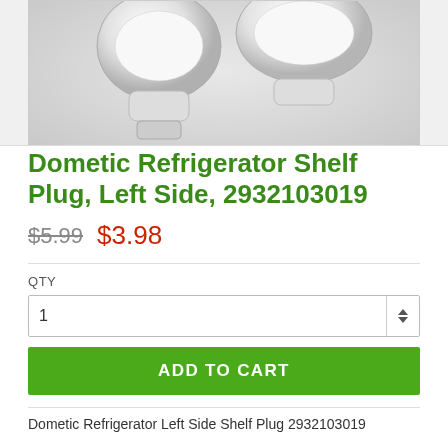[Figure (photo): Product photo of Dometic Refrigerator Shelf Plug, Left Side, showing two white plastic plug/cap components on a light gray surface]
Dometic Refrigerator Shelf Plug, Left Side, 2932103019
$5.99  $3.98
QTY
1
ADD TO CART
Dometic Refrigerator Left Side Shelf Plug 2932103019